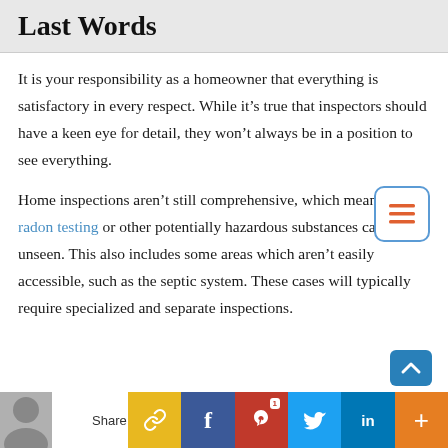Last Words
It is your responsibility as a homeowner that everything is satisfactory in every respect. While it’s true that inspectors should have a keen eye for detail, they won’t always be in a position to see everything.
Home inspections aren’t still comprehensive, which means that radon testing or other potentially hazardous substances can go unseen. This also includes some areas which aren’t easily accessible, such as the septic system. These cases will typically require specialized and separate inspections.
Share [social bar: link, facebook, pinterest, twitter, linkedin, plus]